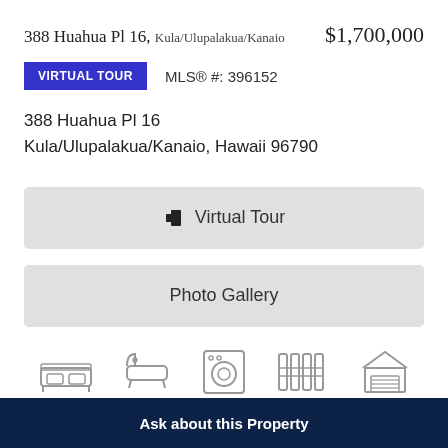388 Huahua Pl 16, Kula/Ulupalakua/Kanaio   $1,700,000
VIRTUAL TOUR   MLS® #: 396152
388 Huahua Pl 16
Kula/Ulupalakua/Kanaio, Hawaii 96790
Virtual Tour
Photo Gallery
[Figure (illustration): Row of property feature icons: bed, bathtub, washer/dryer, radiator/heating, garage]
Ask about this Property